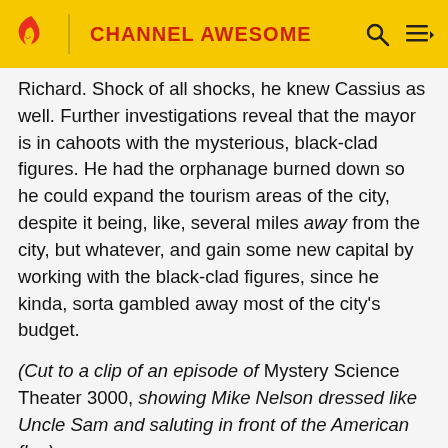CHANNEL AWESOME
Richard. Shock of all shocks, he knew Cassius as well. Further investigations reveal that the mayor is in cahoots with the mysterious, black-clad figures. He had the orphanage burned down so he could expand the tourism areas of the city, despite it being, like, several miles away from the city, but whatever, and gain some new capital by working with the black-clad figures, since he kinda, sorta gambled away most of the city's budget.
(Cut to a clip of an episode of Mystery Science Theater 3000, showing Mike Nelson dressed like Uncle Sam and saluting in front of the American flag)
Mike: (singing) I'm the government! I'm the government! I'm the reason nothing works!